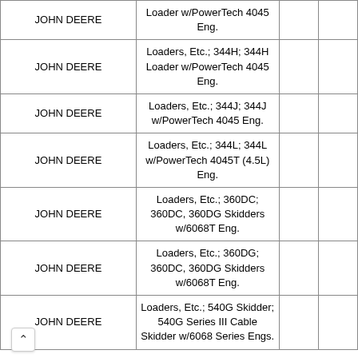|  |  |  |  |
| --- | --- | --- | --- |
| JOHN DEERE | Loader w/PowerTech 4045 Eng. |  |  |
| JOHN DEERE | Loaders, Etc.; 344H; 344H Loader w/PowerTech 4045 Eng. |  |  |
| JOHN DEERE | Loaders, Etc.; 344J; 344J w/PowerTech 4045 Eng. |  |  |
| JOHN DEERE | Loaders, Etc.; 344L; 344L w/PowerTech 4045T (4.5L) Eng. |  |  |
| JOHN DEERE | Loaders, Etc.; 360DC; 360DC, 360DG Skidders w/6068T Eng. |  |  |
| JOHN DEERE | Loaders, Etc.; 360DG; 360DC, 360DG Skidders w/6068T Eng. |  |  |
| JOHN DEERE | Loaders, Etc.; 540G Skidder; 540G Series III Cable Skidder w/6068 Series Engs. |  |  |